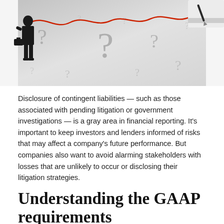[Figure (photo): A business person silhouette on the left with question marks scattered around and a red squiggly line, and a hand holding a pen on the right side drawing the line.]
Disclosure of contingent liabilities — such as those associated with pending litigation or government investigations — is a gray area in financial reporting. It's important to keep investors and lenders informed of risks that may affect a company's future performance. But companies also want to avoid alarming stakeholders with losses that are unlikely to occur or disclosing their litigation strategies.
Understanding the GAAP requirements
Under Accounting Standards Codification (ASC) Topic 450, Contingencies, a company is required to classify contingent losses under the following categories:
Remote. If a contingent loss is remote, the chances that a loss will occur are slight. No disclosure or accrual is usually